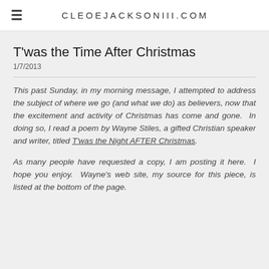CLEOEJACKSONIII.COM
T'was the Time After Christmas
1/7/2013
This past Sunday, in my morning message, I attempted to address the subject of where we go (and what we do) as believers, now that the excitement and activity of Christmas has come and gone. In doing so, I read a poem by Wayne Stiles, a gifted Christian speaker and writer, titled T'was the Night AFTER Christmas.
As many people have requested a copy, I am posting it here. I hope you enjoy. Wayne's web site, my source for this piece, is listed at the bottom of the page.